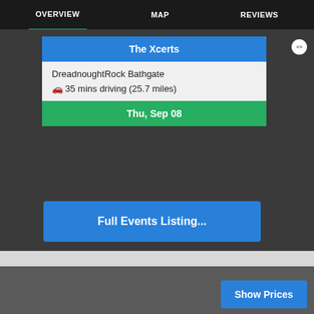OVERVIEW   MAP   REVIEWS
The Xcerts
DreadnoughtRock Bathgate
🚗35 mins driving (25.7 miles)
Thu, Sep 08
Full Events Listing...
Show Prices